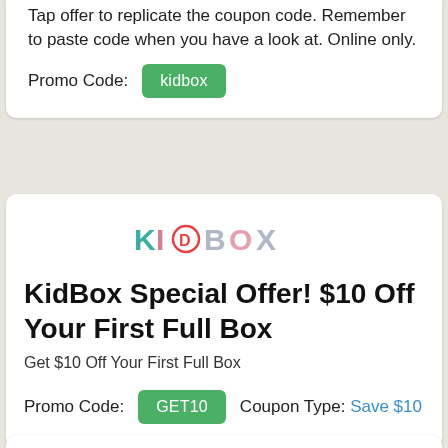Tap offer to replicate the coupon code. Remember to paste code when you have a look at. Online only.
Promo Code: kidbox
[Figure (logo): KIDBOX logo with colorful stylized letters]
KidBox Special Offer! $10 Off Your First Full Box
Get $10 Off Your First Full Box
Promo Code: GET10   Coupon Type: Save $10